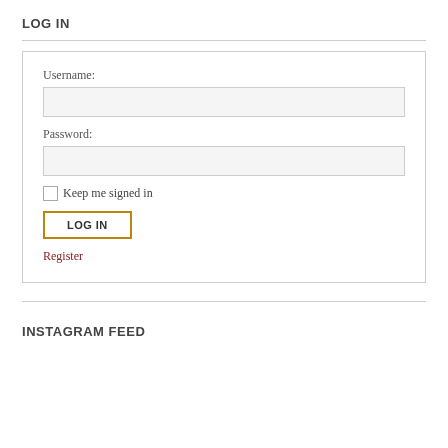LOG IN
[Figure (screenshot): Login form with Username field, Password field, Keep me signed in checkbox, LOG IN button, and Register link]
INSTAGRAM FEED